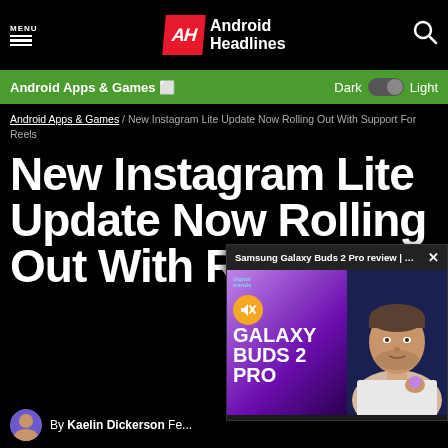MENU | Android Headlines
Android Apps & Games | Dark Light
Android Apps & Games / New Instagram Lite Update Now Rolling Out With Support For Reels
New Instagram Lite Update Now Rolling Out With Reels
[Figure (screenshot): Video overlay showing Samsung Galaxy Buds 2 Pro review from Digital Trends, with GALAXY BUDS 2 PRO text and a man holding earbuds]
By Kaelin Dickerson Fe...